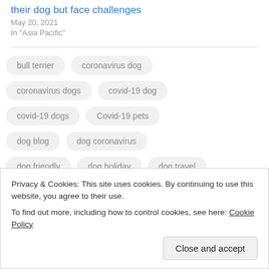their dog but face challenges
May 20, 2021
In "Asia Pacific"
bull terrier
coronavirus dog
coronavirus dogs
covid-19 dog
covid-19 dogs
Covid-19 pets
dog blog
dog coronavirus
dog friendly
dog holiday
dog travel
Privacy & Cookies: This site uses cookies. By continuing to use this website, you agree to their use.
To find out more, including how to control cookies, see here: Cookie Policy